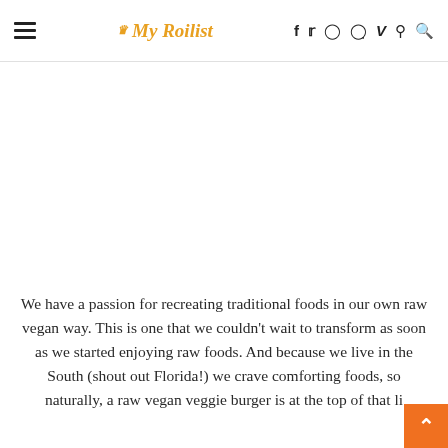≡ My Roilist f 🐦 📷 𝕡 V ↺ 🔍
[Figure (other): Advertisement or image placeholder area (blank white space)]
We have a passion for recreating traditional foods in our own raw vegan way. This is one that we couldn't wait to transform as soon as we started enjoying raw foods. And because we live in the South (shout out Florida!) we crave comforting foods, so naturally, a raw vegan veggie burger is at the top of that li…